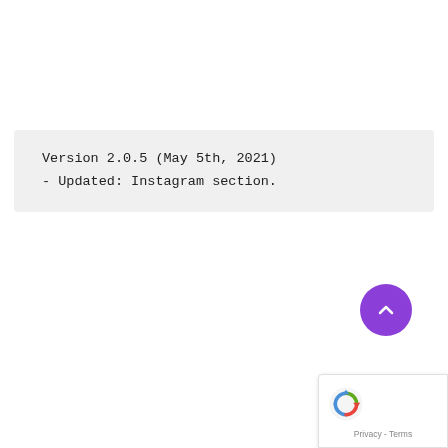Version 2.0.5 (May 5th, 2021)
- Updated: Instagram section.
[Figure (other): Purple circular scroll-to-top button with chevron/caret up arrow icon]
[Figure (other): Google reCAPTCHA badge showing reCAPTCHA logo and Privacy - Terms links]